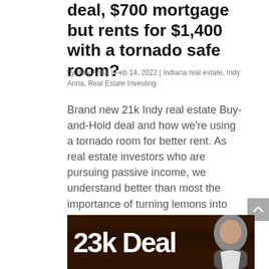deal, $700 mortgage but rents for $1,400 with a tornado safe room?
by Indy Anna | Feb 14, 2022 | Indiana real estate, Indy Anna, Real Estate Investing
Brand new 21k Indy real estate Buy-and-Hold deal and how we're using a tornado room for better rent. As real estate investors who are pursuing passive income, we understand better than most the importance of turning lemons into lemonade to make the most our rental...
[Figure (photo): Thumbnail image with dark wood background showing '23k Deal' text in large white bold letters and a woman with dark hair wearing a hoodie on the right side]